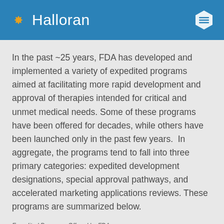Halloran
In the past ~25 years, FDA has developed and implemented a variety of expedited programs aimed at facilitating more rapid development and approval of therapies intended for critical and unmet medical needs. Some of these programs have been offered for decades, while others have been launched only in the past few years.  In aggregate, the programs tend to fall into three primary categories: expedited development designations, special approval pathways, and accelerated marketing applications reviews. These programs are summarized below.
Expedited Programs Offered by FDA